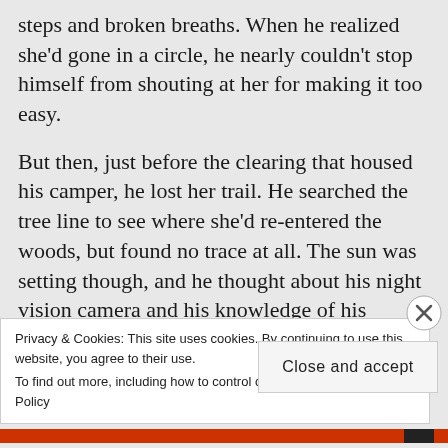steps and broken breaths. When he realized she'd gone in a circle, he nearly couldn't stop himself from shouting at her for making it too easy.
But then, just before the clearing that housed his camper, he lost her trail. He searched the tree line to see where she'd re-entered the woods, but found no trace at all. The sun was setting though, and he thought about his night vision camera and his knowledge of his beloved woods. So he relaxed, realizing she just might be easier to track at night.
As he made his way back up the clearing to the
Privacy & Cookies: This site uses cookies. By continuing to use this website, you agree to their use.
To find out more, including how to control cookies, see here: Cookie Policy
Close and accept